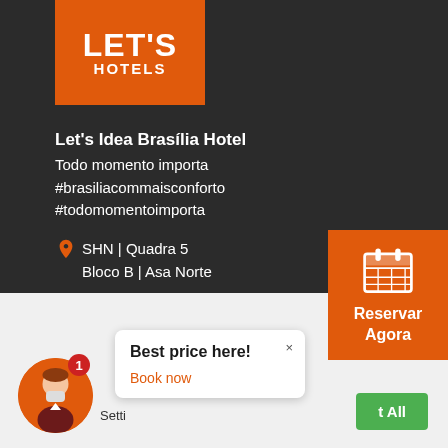[Figure (logo): Let's Hotels logo — orange rectangle with white bold text LETS on top and HOTELS below]
Let's Idea Brasília Hotel
Todo momento importa
#brasiliacommaisconforto
#todomomentoimporta
SHN | Quadra 5
Bloco B | Asa Norte

70705-020 | Brasília | DF
[Figure (illustration): Orange square button with calendar icon and text Reservar Agora]
We use cookies on our website to give you the best experience by remembering your preferences and repeat visits. By clicking "Accept All", you consent to the use of ALL the cookies. However, you may visit "Cookie Settings" to provide a controlled consent.
[Figure (illustration): Orange circle avatar of hotel staff with mask, red badge showing number 1]
Best price here!
Book now